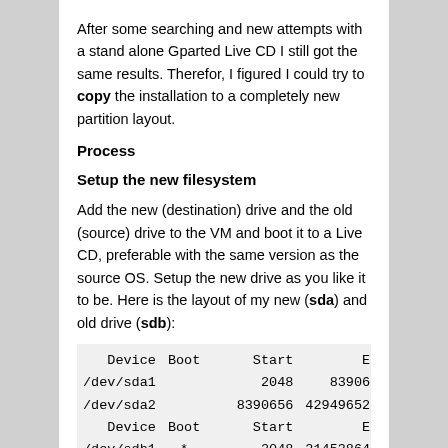After some searching and new attempts with a stand alone Gparted Live CD I still got the same results. Therefor, I figured I could try to copy the installation to a completely new partition layout.
Process
Setup the new filesystem
Add the new (destination) drive and the old (source) drive to the VM and boot it to a Live CD, preferable with the same version as the source OS. Setup the new drive as you like it to be. Here is the layout of my new (sda) and old drive (sdb):
| Device | Boot | Start | End |
| --- | --- | --- | --- |
| /dev/sda1 |  | 2048 | 8390655 |
| /dev/sda2 |  | 8390656 | 4294965247 | 2: |
| Device | Boot | Start | End |
| /dev/sdb1 | * | 2048 | 2145386495 | 1( |
| /dev/sdb2 |  | 2145388542 | 2147481599 |
| /dev/sdb5 |  | 2145388544 | 2147481599 |